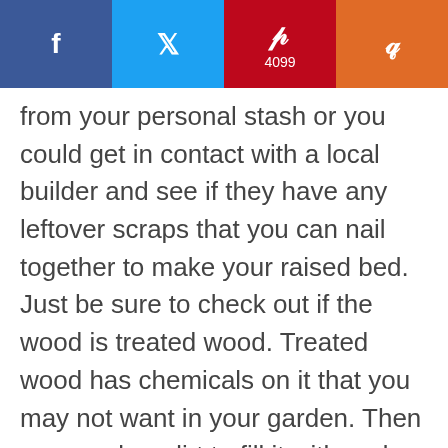[Figure (other): Social media sharing bar with Facebook (blue), Twitter (light blue), Pinterest (red, 4099 shares), and Mix/Mixx (orange) buttons]
from your personal stash or you could get in contact with a local builder and see if they have any leftover scraps that you can nail together to make your raised bed. Just be sure to check out if the wood is treated wood. Treated wood has chemicals on it that you may not want in your garden. Then you can buy dirt to fill it with and get planting!
Another idea is to get compost from your local city or county and fill the boxes with that. This is a great way to get starter soil. But if you are trying to do organic gardening, this will not work so well due to the fact that